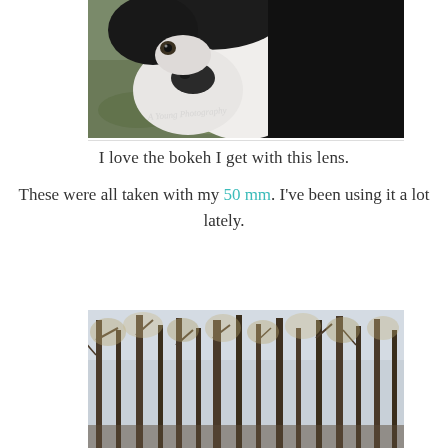[Figure (photo): Close-up photo of a black and white border collie dog, with a blurred autumn background of leaves and ground. Watermark text 'A Young Photography' visible in lower left of photo.]
I love the bokeh I get with this lens.
These were all taken with my 50 mm. I've been using it a lot lately.
[Figure (photo): Photo of bare autumn trees with muted yellows and browns, blurred background showing forest scene.]